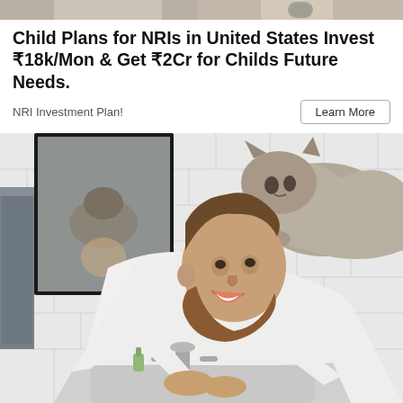[Figure (photo): Partial top strip of a photo showing hands with a watch — cropped at the top of the page]
Child Plans for NRIs in United States Invest ₹18k/Mon & Get ₹2Cr for Childs Future Needs.
NRI Investment Plan!
[Figure (photo): A smiling bearded man leaning over a bathroom sink while a tabby cat sits on his back/shoulders, both reflected in a mirror behind them. White subway tile walls, grey towel hanging on the left.]